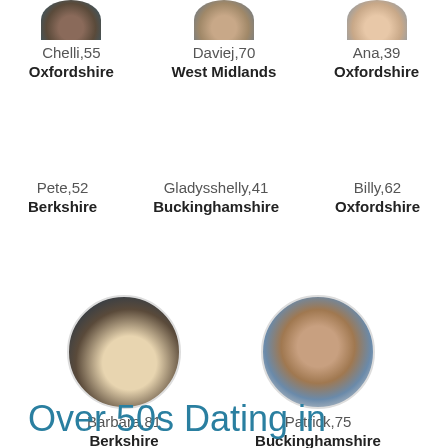[Figure (photo): Partial circular profile photo of Chelli at top of page]
Chelli,55
Oxfordshire
[Figure (photo): Partial circular profile photo of Daviej at top of page]
Daviej,70
West Midlands
[Figure (photo): Partial circular profile photo of Ana at top of page]
Ana,39
Oxfordshire
Pete,52
Berkshire
Gladysshelly,41
Buckinghamshire
Billy,62
Oxfordshire
[Figure (photo): Circular profile photo of Barbara, showing a group of people]
Barbara,81
Berkshire
[Figure (photo): Circular profile photo of Patrick, showing a man posing]
Patrick,75
Buckinghamshire
Over 50s Dating in